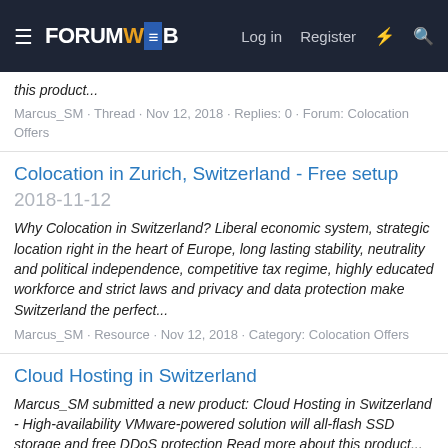≡ FORUMWEB  Log in  Register  ⚡  🔍
this product...
Marcus_SM · Thread · Nov 12, 2018 · Replies: 0 · Forum: Colocation Offers
Colocation in Zurich, Switzerland - Free setup
2018-11-12
Why Colocation in Switzerland? Liberal economic system, strategic location right in the heart of Europe, long lasting stability, neutrality and political independence, competitive tax regime, highly educated workforce and strict laws and privacy and data protection make Switzerland the perfect...
Marcus_SM · Resource · Nov 12, 2018 · Category: Colocation Offers
Cloud Hosting in Switzerland
Marcus_SM submitted a new product: Cloud Hosting in Switzerland - High-availability VMware-powered solution will all-flash SSD storage and free DDoS protection Read more about this product...
Marcus_SM · Thread · Nov 8, 2018 · Replies: 0 · Forum: Cloud Hosting Offers